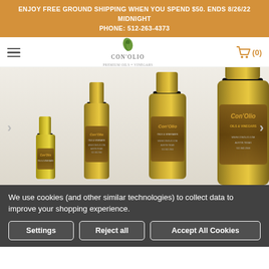ENJOY FREE GROUND SHIPPING WHEN YOU SPEND $50. ENDS 8/26/22 MIDNIGHT
PHONE: 512-263-4373
[Figure (logo): Con'Olio oils & vinegars logo with green leaf icon]
[Figure (photo): Four Con'Olio olive oil bottles of varying sizes on white background]
We use cookies (and other similar technologies) to collect data to improve your shopping experience.
Settings
Reject all
Accept All Cookies